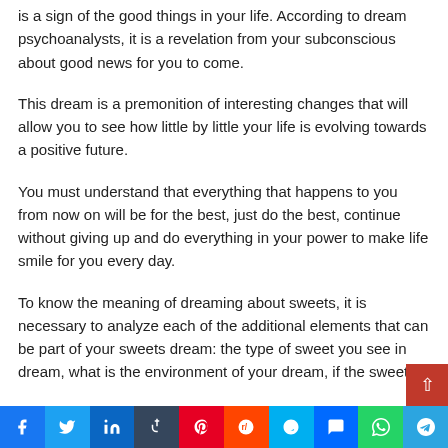is a sign of the good things in your life. According to dream psychoanalysts, it is a revelation from your subconscious about good news for you to come.
This dream is a premonition of interesting changes that will allow you to see how little by little your life is evolving towards a positive future.
You must understand that everything that happens to you from now on will be for the best, just do the best, continue without giving up and do everything in your power to make life smile for you every day.
To know the meaning of dreaming about sweets, it is necessary to analyze each of the additional elements that can be part of your sweets dream: the type of sweet you see in dream, what is the environment of your dream, if the sweet is…
Social share bar: Facebook, Twitter, LinkedIn, Tumblr, Pinterest, Reddit, Skype, Messenger, WhatsApp, Telegram